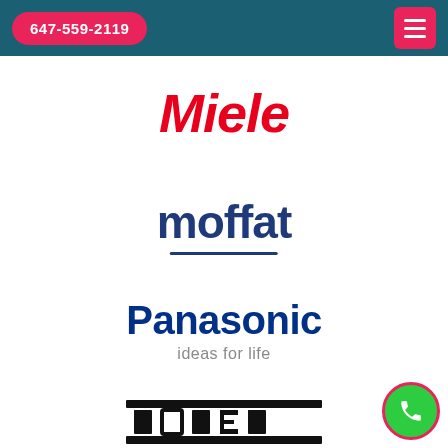647-559-2119
[Figure (logo): Miele logo in bold red italic text]
[Figure (logo): Moffat logo in dark navy bold text with underline]
[Figure (logo): Panasonic logo with tagline 'ideas for life' in gray]
[Figure (logo): Roper logo partially visible at bottom]